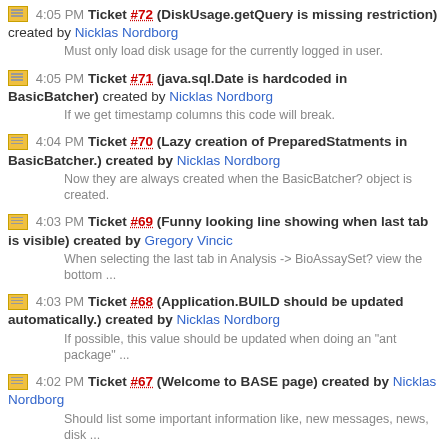4:05 PM Ticket #72 (DiskUsage.getQuery is missing restriction) created by Nicklas Nordborg
Must only load disk usage for the currently logged in user.
4:05 PM Ticket #71 (java.sql.Date is hardcoded in BasicBatcher) created by Nicklas Nordborg
If we get timestamp columns this code will break.
4:04 PM Ticket #70 (Lazy creation of PreparedStatments in BasicBatcher.) created by Nicklas Nordborg
Now they are always created when the BasicBatcher? object is created.
4:03 PM Ticket #69 (Funny looking line showing when last tab is visible) created by Gregory Vincic
When selecting the last tab in Analysis -> BioAssaySet? view the bottom ...
4:03 PM Ticket #68 (Application.BUILD should be updated automatically.) created by Nicklas Nordborg
If possible, this value should be updated when doing an "ant package" ...
4:02 PM Ticket #67 (Welcome to BASE page) created by Nicklas Nordborg
Should list some important information like, new messages, news, disk ...
4:01 PM Ticket #66 (Missing information in about raw data) created by Nicklas Nordborg
No information about raw data, reporter or well.
4:00 PM Ticket #65 (New list and view page design for Reporter types) created by Nicklas Nordborg